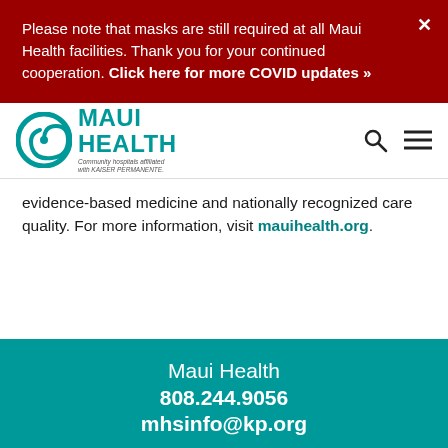Please note that masks are still required at all Maui Health facilities. Thank you for your continued cooperation. Click here for more COVID updates »
[Figure (logo): Maui Health logo — teal spiral icon with MAUI HEALTH wordmark and tagline 'Community hospitals affiliated with Kaiser Permanente']
evidence-based medicine and nationally recognized care quality. For more information, visit mauihealth.org.
Maui Health
808.244.9056
mhsinfo@kp.org